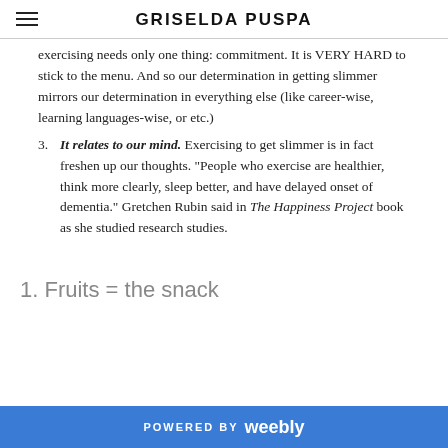GRISELDA PUSPA
exercising needs only one thing: commitment. It is VERY HARD to stick to the menu. And so our determination in getting slimmer mirrors our determination in everything else (like career-wise, learning languages-wise, or etc.)
3. It relates to our mind. Exercising to get slimmer is in fact freshen up our thoughts. "People who exercise are healthier, think more clearly, sleep better, and have delayed onset of dementia." Gretchen Rubin said in The Happiness Project book as she studied research studies.
1. Fruits = the snack
POWERED BY weebly